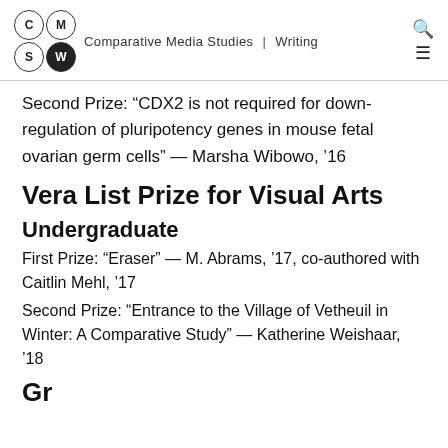Comparative Media Studies | Writing
Second Prize: “CDX2 is not required for down-regulation of pluripotency genes in mouse fetal ovarian germ cells” — Marsha Wibowo, ’16
Vera List Prize for Visual Arts
Undergraduate
First Prize: “Eraser” — M. Abrams, ’17, co-authored with Caitlin Mehl, ’17
Second Prize: “Entrance to the Village of Vetheuil in Winter: A Comparative Study” — Katherine Weishaar, ’18
Gr...